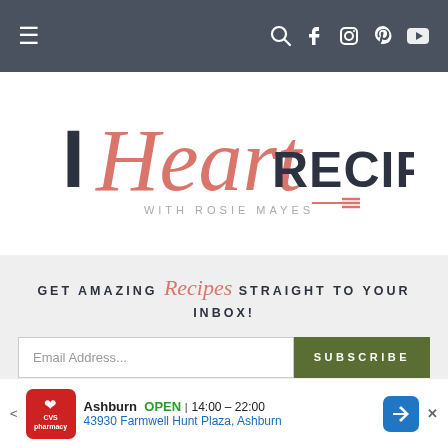Navigation bar with menu and social icons
[Figure (logo): I Heart Recipes with Rosie Mayes logo — stylized script 'Heart' in coral/salmon color combined with bold dark 'I' and 'RECIPES', subtitle 'WITH ROSIE MAYES' with fork icon]
GET AMAZING Recipes STRAIGHT TO YOUR INBOX!
Email Address... SUBSCRIBE
SOUL FOOD MACARONI AND
[Figure (other): CVS Pharmacy advertisement banner showing Ashburn location OPEN 14:00-22:00 at 43930 Farmwell Hunt Plaza, Ashburn with navigation arrow icon]